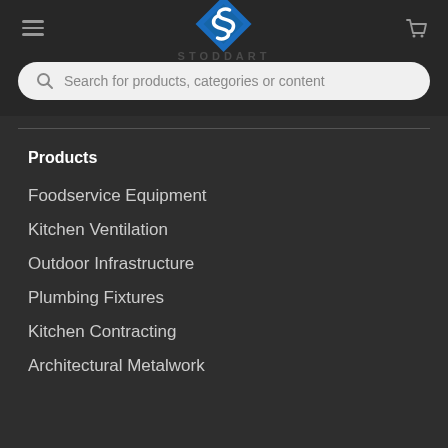[Figure (logo): Stoddart logo with diamond S icon and STODDART wordmark in dark header]
Search for products, categories or content
Products
Foodservice Equipment
Kitchen Ventilation
Outdoor Infrastructure
Plumbing Fixtures
Kitchen Contracting
Architectural Metalwork